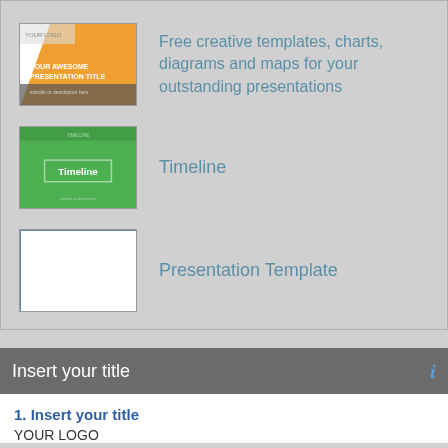[Figure (screenshot): Thumbnail of a presentation template with orange diagonal design and text YOUR LOGO / YOUR AWESOME PRESENTATION TITLE]
Free creative templates, charts, diagrams and maps for your outstanding presentations
[Figure (screenshot): Thumbnail of a green Timeline template slide]
Timeline
[Figure (screenshot): Blank white presentation template thumbnail]
Presentation Template
Insert your title
1. Insert your title
YOUR LOGO